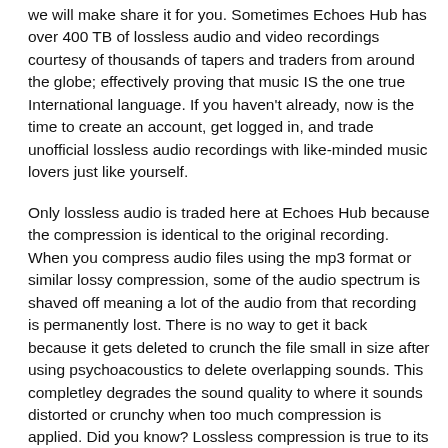we will make share it for you. Sometimes Echoes Hub has over 400 TB of lossless audio and video recordings courtesy of thousands of tapers and traders from around the globe; effectively proving that music IS the one true International language. If you haven't already, now is the time to create an account, get logged in, and trade unofficial lossless audio recordings with like-minded music lovers just like yourself.
Only lossless audio is traded here at Echoes Hub because the compression is identical to the original recording. When you compress audio files using the mp3 format or similar lossy compression, some of the audio spectrum is shaved off meaning a lot of the audio from that recording is permanently lost. There is no way to get it back because it gets deleted to crunch the file small in size after using psychoacoustics to delete overlapping sounds. This completley degrades the sound quality to where it sounds distorted or crunchy when too much compression is applied. Did you know? Lossless compression is true to its name in that it retains all the information in the recording and has no auditory problems -- nothing is lost. When you extract a FLAC file you get the lossless .WAV file from the original recording device.
Our lossless music recording formats are generally shared in the